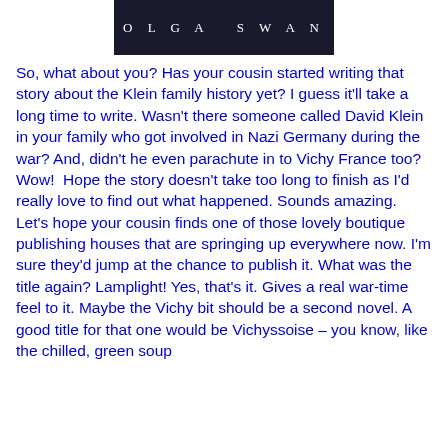[Figure (other): Book cover header image with author name OLGA SWAN on dark background]
So, what about you? Has your cousin started writing that story about the Klein family history yet? I guess it'll take a long time to write. Wasn't there someone called David Klein in your family who got involved in Nazi Germany during the war? And, didn't he even parachute in to Vichy France too? Wow!  Hope the story doesn't take too long to finish as I'd really love to find out what happened. Sounds amazing. Let's hope your cousin finds one of those lovely boutique publishing houses that are springing up everywhere now. I'm sure they'd jump at the chance to publish it. What was the title again? Lamplight! Yes, that's it. Gives a real war-time feel to it. Maybe the Vichy bit should be a second novel. A good title for that one would be Vichyssoise – you know, like the chilled, green soup